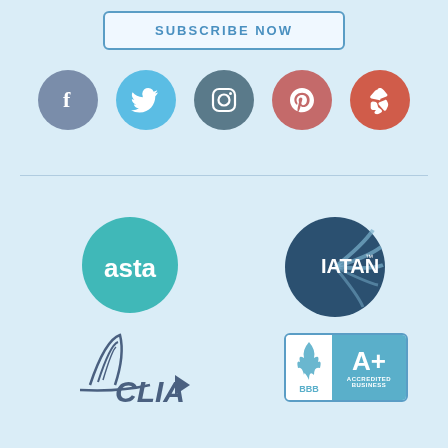[Figure (other): Subscribe Now button with blue border and blue text on light blue background]
[Figure (other): Row of five social media icons: Facebook (purple-grey circle), Twitter (light blue circle), Instagram (dark teal circle), Pinterest (muted red circle), Yelp (orange-red circle)]
[Figure (other): ASTA logo - teal circle with white 'asta' text]
[Figure (other): IATAN logo - dark blue circle with radiating lines and 'IATAN' text with trademark symbol]
[Figure (other): CLIA logo - stylized ship with sail lines and CLIA text in dark blue]
[Figure (other): BBB A+ Accredited Business logo - white and teal box with BBB emblem and A+ grade]